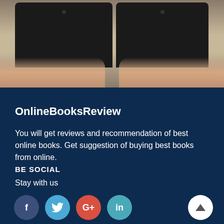[Figure (photo): Two hands holding dark electronic devices (tablets or e-readers) side by side against a beige background]
OnlineBooksReview
You will get reviews and recommendation of best online books. Get suggestion of buying best books from online.
BE SOCIAL
Stay with us
[Figure (infographic): Social media icon buttons: Facebook (f), Twitter (bird), Google+ (G+), LinkedIn (in), and a back-to-top arrow button]